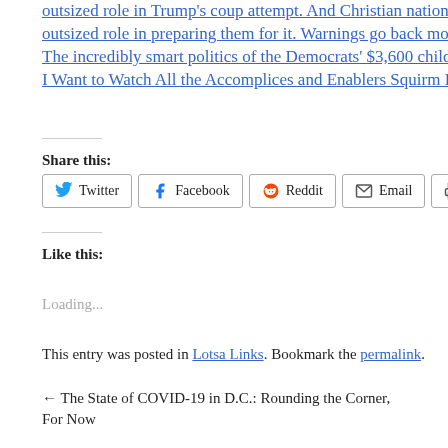outsized role in Trump's coup attempt. And Christian nationalis...
outsized role in preparing them for it. Warnings go back more t...
The incredibly smart politics of the Democrats' $3,600 child cre...
I Want to Watch All the Accomplices and Enablers Squirm Befo...
Share this:
Twitter Facebook Reddit Email Print
Like this:
Loading...
This entry was posted in Lotsa Links. Bookmark the permalink.
← The State of COVID-19 in D.C.: Rounding the Corner, For Now